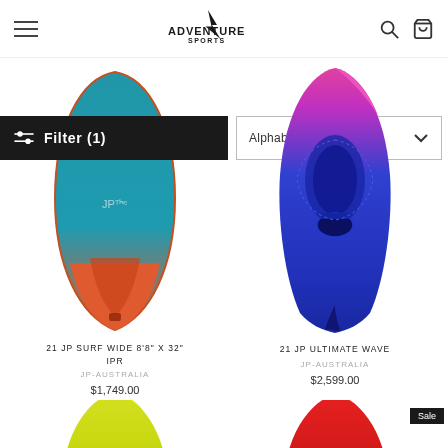Adventure Sports - navigation header with logo, hamburger menu, search and cart icons
Filter (1)
Alphabetically, A-Z
[Figure (photo): SUP surfboard - teal and orange color, top view]
21 JP SURF WIDE 8'8" X 32" IPR
JP-AUSTRALIA
$1,749.00
[Figure (photo): SUP surfboard - blue and purple/pink color, top view]
21 JP ULTIMATE WAVE
JP-AUSTRALIA
$2,599.00
[Figure (photo): SUP board - grey and yellow color, top view, partially visible]
[Figure (photo): SUP board - red and grey color, top view, partially visible, Sale badge]